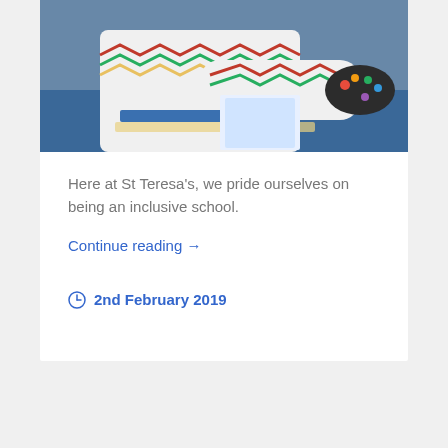[Figure (photo): Photo of a student in a patterned sweater working at a school desk with art supplies and colorful materials]
Here at St Teresa's, we pride ourselves on being an inclusive school.
Continue reading →
2nd February 2019
COMPLIANCE & GOVERNANCE
School Leadership